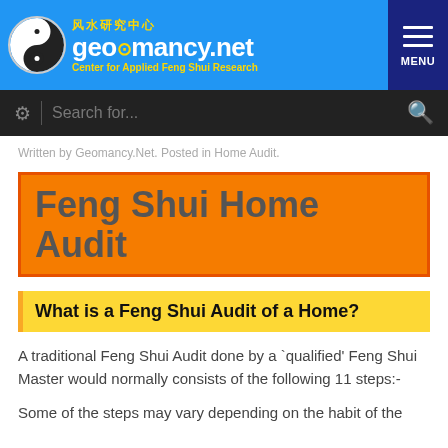geomancy.net — Center for Applied Feng Shui Research
Written by Geomancy.Net. Posted in Home Audit.
Feng Shui Home Audit
What is a Feng Shui Audit of a Home?
A traditional Feng Shui Audit done by a `qualified' Feng Shui Master would normally consists of the following 11 steps:-
Some of the steps may vary depending on the habit of the